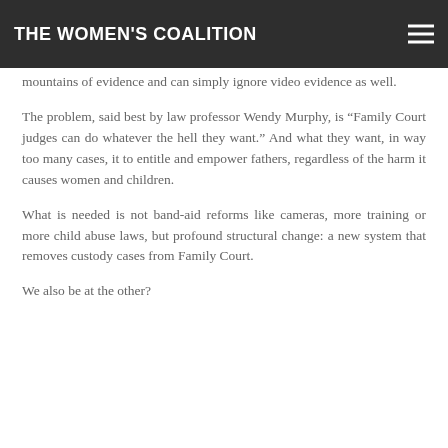THE WOMEN'S COALITION
mountains of evidence and can simply ignore video evidence as well.
The problem, said best by law professor Wendy Murphy, is “Family Court judges can do whatever the hell they want.” And what they want, in way too many cases, it to entitle and empower fathers, regardless of the harm it causes women and children.
What is needed is not band-aid reforms like cameras, more training or more child abuse laws, but profound structural change: a new system that removes custody cases from Family Court.
We also be at the other?